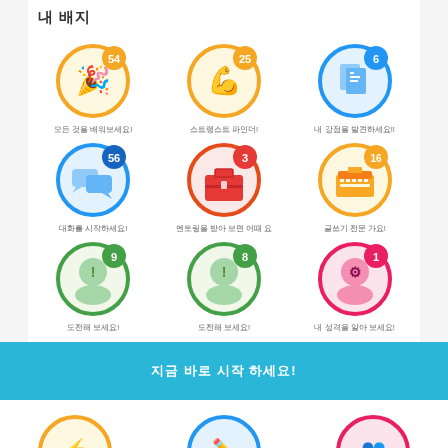내 배지
[Figure (infographic): Grid of 9 achievement badges with counts: 54 (party/celebration), 25 (muscle/strength), 6 (document/files), 56 (chat bubbles), 3 (briefcase), 16 (typewriter), 9 (head with exclamation), 8 (head with exclamation), 1 (head with gear). Each badge has a colored circular border and a number badge in the top-right corner.]
모든 것을 배워보세요!
스트렝스트 파인더!
내 강점을 발견하세요!!
대화를 시작하세요!
멘토링을 받아 보면 어때 요
글쓰기 전문 가요!
도전해 보세요!
도전해 보세요!
내 성격을 알아 보세요!
지금 바로 시작 하세요!